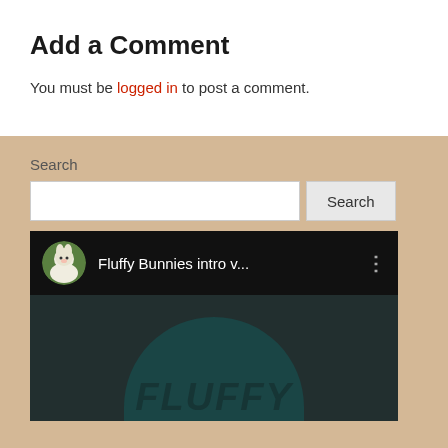Add a Comment
You must be logged in to post a comment.
Search
[Figure (screenshot): YouTube video thumbnail showing 'Fluffy Bunnies intro v...' with channel icon of a white bunny, black header bar with three-dot menu, and teal/dark background with 'FLUFFY' text in italic bold]